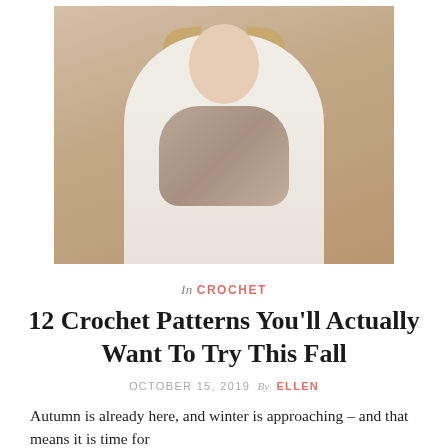[Figure (photo): Young woman with long blonde hair wearing a chunky crochet/knit button scarf cowl in beige/taupe, standing against a warm beige wall, wearing a white sweater.]
In CROCHET
12 Crochet Patterns You'll Actually Want To Try This Fall
OCTOBER 15, 2019  By  ELLEN
Autumn is already here, and winter is approaching – and that means it is time for